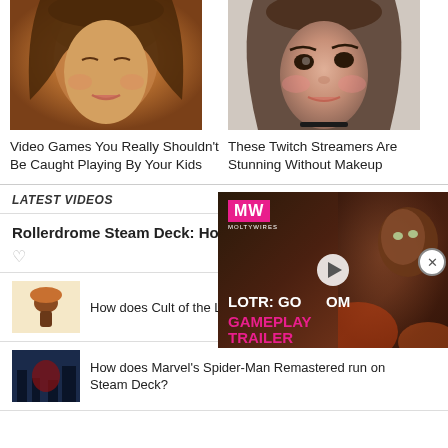[Figure (photo): Close-up of a 3D rendered female face with warm golden-brown tones, left card]
Video Games You Really Shouldn't Be Caught Playing By Your Kids
[Figure (photo): Close-up photo of a young woman with heavy eye makeup and rosy cheeks, right card]
These Twitch Streamers Are Stunning Without Makeup
LATEST VIDEOS
Rollerdrome Steam Deck: How
[Figure (screenshot): LOTR: Gollum Gameplay Trailer video thumbnail with MW logo]
How does Cult of the Lamb run on Steam Deck?
How does Marvel's Spider-Man Remastered run on Steam Deck?